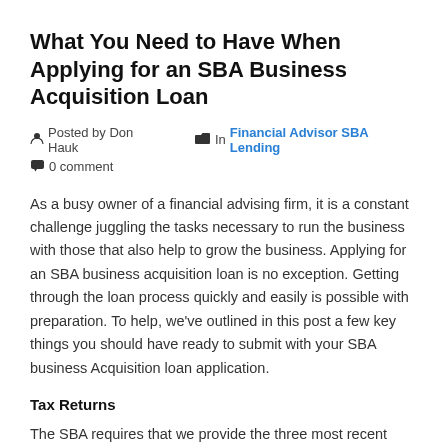What You Need to Have When Applying for an SBA Business Acquisition Loan
Posted by Don Hauk   In Financial Advisor SBA Lending   0 comment
As a busy owner of a financial advising firm, it is a constant challenge juggling the tasks necessary to run the business with those that also help to grow the business. Applying for an SBA business acquisition loan is no exception. Getting through the loan process quickly and easily is possible with preparation. To help, we've outlined in this post a few key things you should have ready to submit with your SBA business Acquisition loan application.
Tax Returns
The SBA requires that we provide the three most recent years